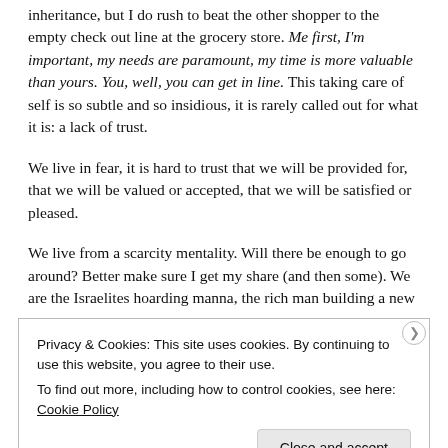inheritance, but I do rush to beat the other shopper to the empty check out line at the grocery store. Me first, I'm important, my needs are paramount, my time is more valuable than yours. You, well, you can get in line. This taking care of self is so subtle and so insidious, it is rarely called out for what it is: a lack of trust.
We live in fear, it is hard to trust that we will be provided for, that we will be valued or accepted, that we will be satisfied or pleased.
We live from a scarcity mentality. Will there be enough to go around? Better make sure I get my share (and then some). We are the Israelites hoarding manna, the rich man building a new
Privacy & Cookies: This site uses cookies. By continuing to use this website, you agree to their use.
To find out more, including how to control cookies, see here: Cookie Policy
Close and accept